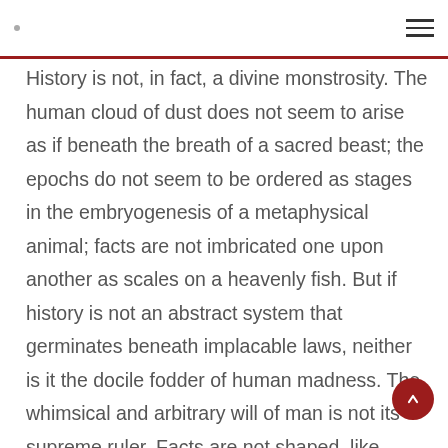navigation header with hamburger menu
History is not, in fact, a divine monstrosity. The human cloud of dust does not seem to arise as if beneath the breath of a sacred beast; the epochs do not seem to be ordered as stages in the embryogenesis of a metaphysical animal; facts are not imbricated one upon another as scales on a heavenly fish. But if history is not an abstract system that germinates beneath implacable laws, neither is it the docile fodder of human madness. The whimsical and arbitrary will of man is not its supreme ruler. Facts are not shaped, like sticky, pliable paste, between industrious